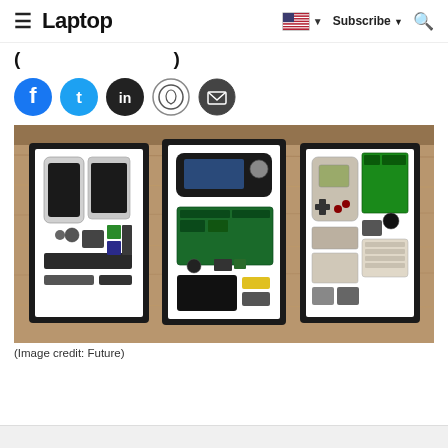Laptop — Subscribe — Search
(partial headline text)
[Figure (photo): Three framed exploded-view displays of disassembled electronics on a wooden shelf: left frame shows an iPhone teardown, center frame shows a PSP teardown, right frame shows a Game Boy teardown. Each device's components are neatly arranged on white backing inside black shadow box frames.]
(Image credit: Future)